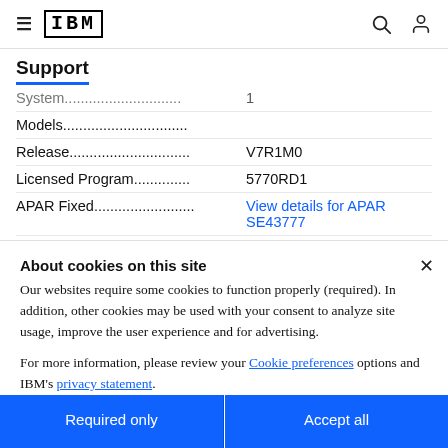IBM Support
Support
System............................ 1
Models...............................
Release.............................. V7R1M0
Licensed Program.............. 5770RD1
APAR Fixed......................... View details for APAR SE43777
About cookies on this site
Our websites require some cookies to function properly (required). In addition, other cookies may be used with your consent to analyze site usage, improve the user experience and for advertising.
For more information, please review your Cookie preferences options and IBM's privacy statement.
Required only
Accept all